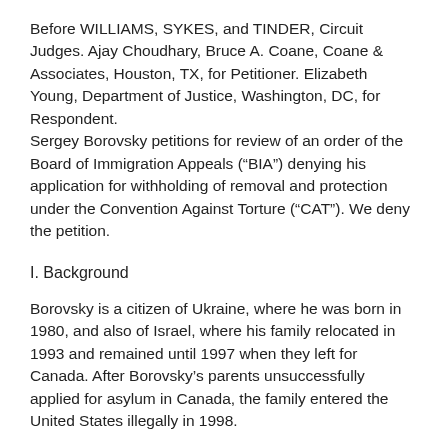Before WILLIAMS, SYKES, and TINDER, Circuit Judges. Ajay Choudhary, Bruce A. Coane, Coane & Associates, Houston, TX, for Petitioner. Elizabeth Young, Department of Justice, Washington, DC, for Respondent.
Sergey Borovsky petitions for review of an order of the Board of Immigration Appeals (“BIA”) denying his application for withholding of removal and protection under the Convention Against Torture (“CAT”). We deny the petition.
I. Background
Borovsky is a citizen of Ukraine, where he was born in 1980, and also of Israel, where his family relocated in 1993 and remained until 1997 when they left for Canada. After Borovsky’s parents unsuccessfully applied for asylum in Canada, the family entered the United States illegally in 1998.
Borovsky and his family remained undocumented in the